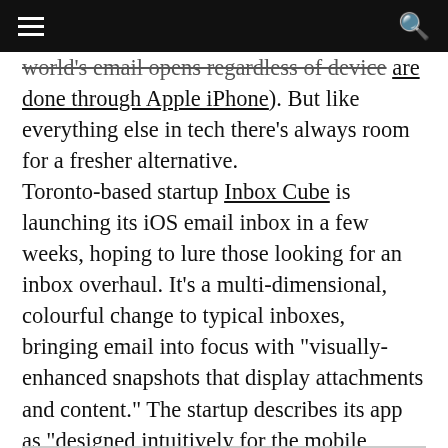≡  [navigation bar]  🔍
world's email opens regardless of device are done through Apple iPhone). But like everything else in tech there's always room for a fresher alternative.
Toronto-based startup Inbox Cube is launching its iOS email inbox in a few weeks, hoping to lure those looking for an inbox overhaul. It's a multi-dimensional, colourful change to typical inboxes, bringing email into focus with "visually-enhanced snapshots that display attachments and content." The startup describes its app as "designed intuitively for the mobile experience," and claims its "changing the future of email".